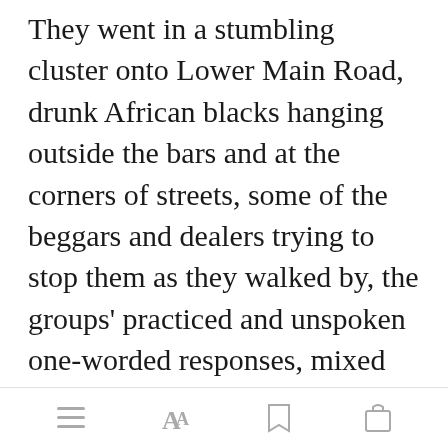They went in a stumbling cluster onto Lower Main Road, drunk African blacks hanging outside the bars and at the corners of streets, some of the beggars and dealers trying to stop them as they walked by, the groups' practiced and unspoken one-worded responses, mixed with the assuredness of walking to a set destination, deterring them. Their favourite bar for sport. The Spot
[Figure (screenshot): Green 'Open in app' button overlay appearing in the middle of the text]